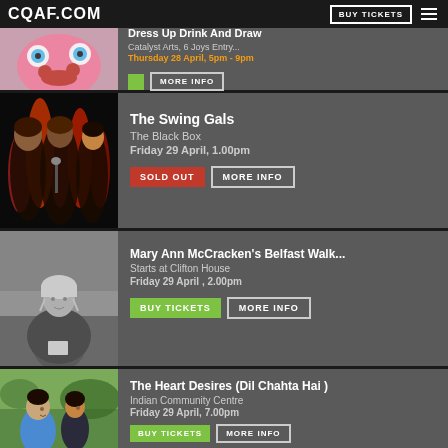CQAF.COM | BUY TICKETS
Dress Up Drink And Draw
Catalyst Arts, 6 Joys Entry...
Thursday 28 April, 5pm - 9pm
[Figure (photo): Colorful cartoon/mask face, pink with big eyes and red accents, held up by hands]
The Swing Gals
The Black Box
Friday 29 April, 1.00pm
[Figure (photo): Women singing on stage with dramatic red flame background lighting]
Mary Ann McCracken's Belfast Walk...
Starts at Clifton House
Friday 29 April , 2.00pm
[Figure (photo): Black and white historical portrait of an elderly woman in bonnet and shawl]
The Heart Desires (Dil Chahta Hai )
Indian Community Centre
Friday 29 April, 7.00pm
[Figure (photo): Two young people, a man and a woman, outdoors with greenery in background]